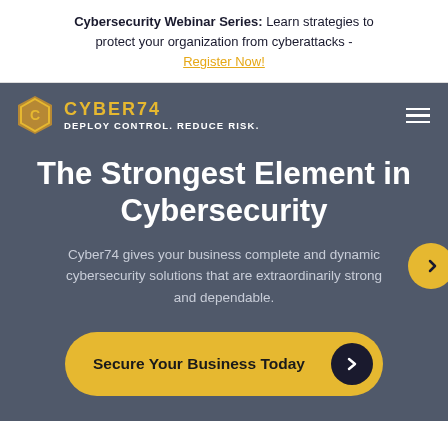Cybersecurity Webinar Series: Learn strategies to protect your organization from cyberattacks - Register Now!
[Figure (screenshot): Cyber74 website hero section with dark slate background, gold logo, navigation bar with hamburger menu, hero title 'The Strongest Element in Cybersecurity', body text, and a gold CTA button 'Secure Your Business Today']
The Strongest Element in Cybersecurity
Cyber74 gives your business complete and dynamic cybersecurity solutions that are extraordinarily strong and dependable.
Secure Your Business Today